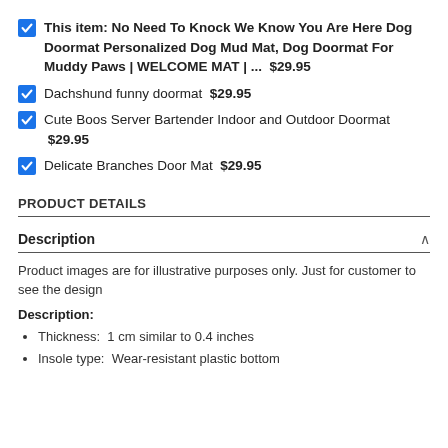This item: No Need To Knock We Know You Are Here Dog Doormat Personalized Dog Mud Mat, Dog Doormat For Muddy Paws | WELCOME MAT | ...  $29.95
Dachshund funny doormat  $29.95
Cute Boos Server Bartender Indoor and Outdoor Doormat  $29.95
Delicate Branches Door Mat  $29.95
PRODUCT DETAILS
Description
Product images are for illustrative purposes only. Just for customer to see the design
Description:
Thickness:  1 cm similar to 0.4 inches
Insole type:  Wear-resistant plastic bottom